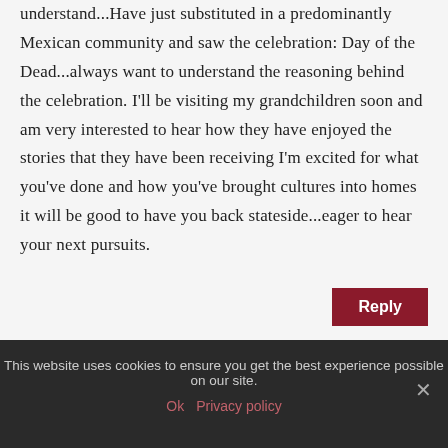understand...Have just substituted in a predominantly Mexican community and saw the celebration: Day of the Dead...always want to understand the reasoning behind the celebration. I'll be visiting my grandchildren soon and am very interested to hear how they have enjoyed the stories that they have been receiving I'm excited for what you've done and how you've brought cultures into homes it will be good to have you back stateside...eager to hear your next pursuits.
Reply
This website uses cookies to ensure you get the best experience possible on our site.
Ok  Privacy policy